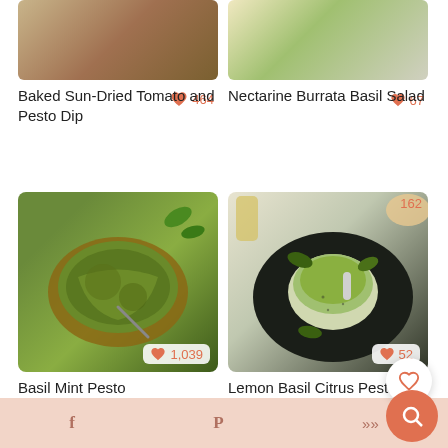[Figure (photo): Partially visible food photo with like count 464, Baked Sun-Dried Tomato and Pesto Dip recipe card top row left]
Baked Sun-Dried Tomato and Pesto Dip
[Figure (photo): Partially visible food photo with like count 67, Nectarine Burrata Basil Salad recipe card top row right]
Nectarine Burrata Basil Salad
[Figure (photo): Bowl of green basil mint pesto with spoon, with like count 1,039]
Basil Mint Pesto
[Figure (photo): Jar of lemon basil citrus pesto on dark plate with basil leaves, like count 52 (partial) and 162]
Lemon Basil Citrus Pesto
Filed Under: Dressings & Sauces, Vegetarian
Tagged With: basil, cheese, olive oil, parmesan, pesto, pine nuts, sauce, vegetarian
f  P  >>>